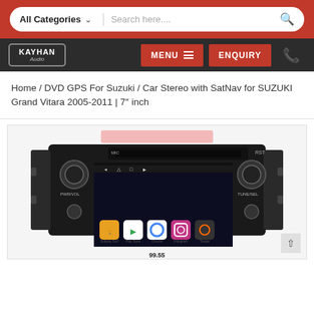[Figure (screenshot): Website header with search bar showing 'All Categories' dropdown and 'Search here...' placeholder on a red background]
[Figure (screenshot): Navigation bar with Kayhan Audio logo on dark background, red MENU button with hamburger icon, red ENQUIRY button, and phone icon]
Home / DVD GPS For Suzuki / Car Stereo with SatNav for SUZUKI Grand Vitara 2005-2011 | 7″ inch
[Figure (photo): Photo of a car stereo/head unit for Suzuki Grand Vitara showing an Android interface with app icons including Subway Surf, Play Store, Chrome, Instagram, Torque, and others. The unit has physical knobs (PWR/VOL and TUNE/SEL) and a CD/DVD slot.]